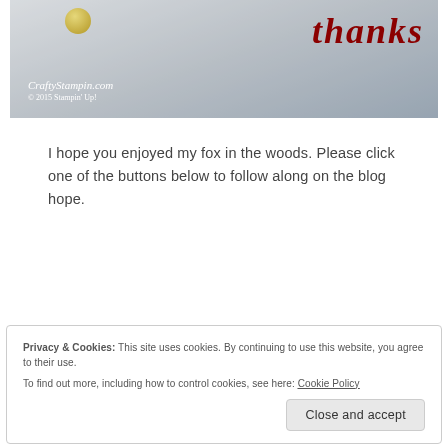[Figure (photo): A handmade greeting card with the word 'thanks' written in dark red cursive script, on a white embossed background with a gold decorative element. Watermark reads 'CraftyStampin.com © 2015 Stampin' Up!']
I hope you enjoyed my fox in the woods. Please click one of the buttons below to follow along on the blog hope.
Privacy & Cookies: This site uses cookies. By continuing to use this website, you agree to their use.
To find out more, including how to control cookies, see here: Cookie Policy
Close and accept